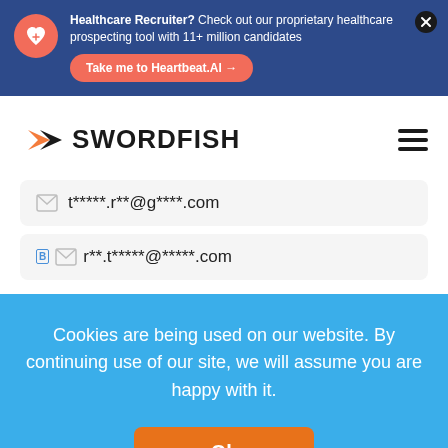Healthcare Recruiter? Check out our proprietary healthcare prospecting tool with 11+ million candidates
Take me to Heartbeat.AI →
[Figure (logo): Swordfish logo with orange arrow and bold black SWORDFISH text]
t*****.r**@g****.com
r**.t*****@*****.com
Cookies are being used on our website. By continuing use of our site, we will assume you are happy with it.
Ok